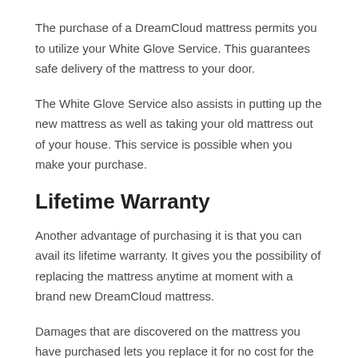The purchase of a DreamCloud mattress permits you to utilize your White Glove Service. This guarantees safe delivery of the mattress to your door.
The White Glove Service also assists in putting up the new mattress as well as taking your old mattress out of your house. This service is possible when you make your purchase.
Lifetime Warranty
Another advantage of purchasing it is that you can avail its lifetime warranty. It gives you the possibility of replacing the mattress anytime at moment with a brand new DreamCloud mattress.
Damages that are discovered on the mattress you have purchased lets you replace it for no cost for the first 10 years following purchase. The following years will be charged cost when you decide to replace the mattress.